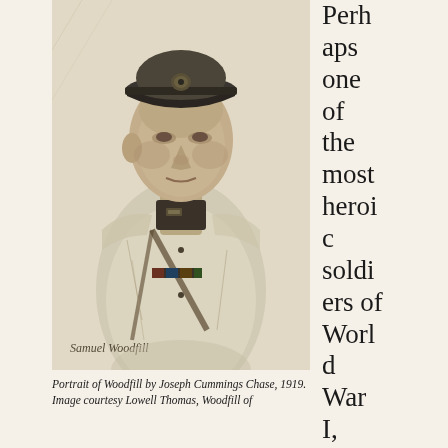[Figure (illustration): A pencil portrait drawing of Samuel Woodfill in military dress uniform with peaked cap. The portrait is signed 'Samuel Woodfill' in cursive at the bottom left. Drawn by Joseph Cummings Chase, 1919.]
Portrait of Woodfill by Joseph Cummings Chase, 1919. Image courtesy Lowell Thomas, Woodfill of
Perhaps one of the most heroic soldiers of World War I, Samuel Woo...